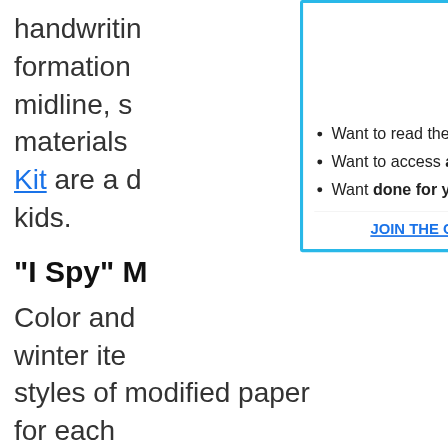handwriting formation midline, s materials Kit are a d kids.
"I Spy" M
Color and winter items and arctic animals, 3 styles of modified paper for each theme: single rule bold lines, double rule bold lines, highlighted double
[Figure (logo): OT Toolbox Members Club logo - yellow circle with pink/magenta text TOOLBOX MEMBERS CLUB]
Want to read the website AD-FREE?
Want to access all of our downloads in one place?
Want done for you therapy tools and materials
JOIN THE OT TOOLBOX MEMBER'S CLUB!